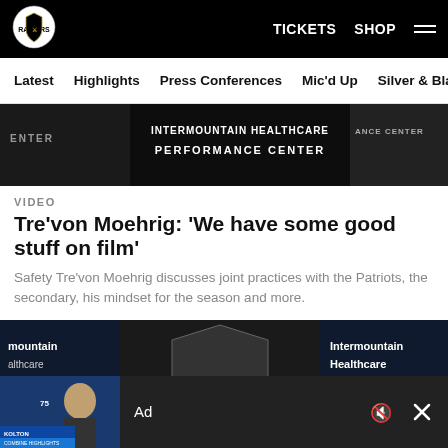TICKETS  SHOP  ☰
Latest  Highlights  Press Conferences  Mic'd Up  Silver & Black
[Figure (screenshot): Dark banner showing Intermountain Healthcare Performance Center text across the top of a video thumbnail]
VIDEO
Tre'von Moehrig: 'We have some good stuff on film'
Safety Tre'von Moehrig discusses joint practices with the Patriots, the secondary, his mindset for the season and more.
[Figure (photo): Press conference photo of a player with long hair wearing a Raiders cap, in front of Raiders and Intermountain Healthcare Performance Center banners]
Ad